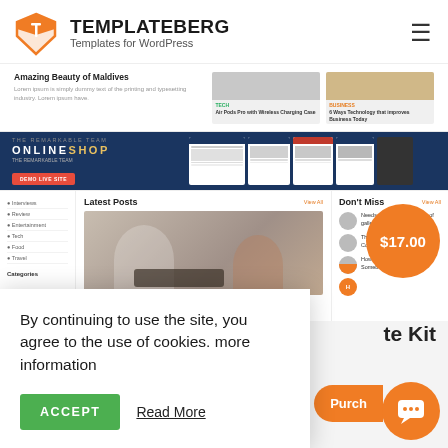[Figure (screenshot): Templateberg website screenshot showing blog and template previews]
By continuing to use the site, you agree to the use of cookies. more information
ACCEPT
Read More
$17.00
te Kit
Purch